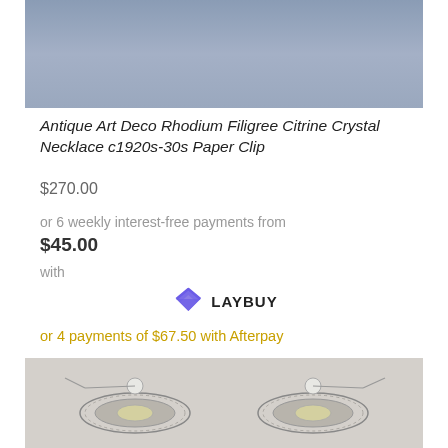[Figure (photo): Top portion of product photo showing a necklace against a blue-gray background]
Antique Art Deco Rhodium Filigree Citrine Crystal Necklace c1920s-30s Paper Clip
$270.00
or 6 weekly interest-free payments from
$45.00
with
[Figure (logo): Laybuy logo with purple heart/chevron icon and LAYBUY text]
or 4 payments of $67.50 with Afterpay
[Figure (photo): Close-up product photo showing Art Deco filigree necklace detail with citrine crystal stones against a light gray background]